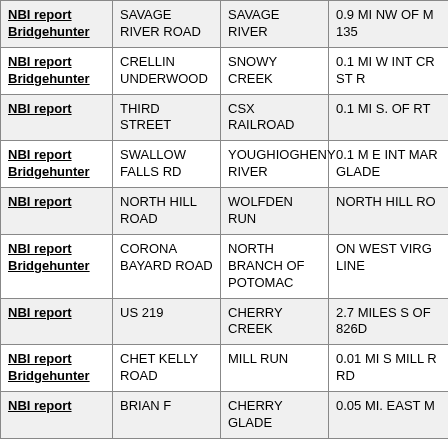| NBI report
Bridgehunter | SAVAGE RIVER ROAD | SAVAGE RIVER | 0.9 MI NW OF M 135 |
| NBI report
Bridgehunter | CRELLIN UNDERWOOD | SNOWY CREEK | 0.1 MI W INT CR ST R |
| NBI report | THIRD STREET | CSX RAILROAD | 0.1 MI S. OF RT |
| NBI report
Bridgehunter | SWALLOW FALLS RD | YOUGHIOGHENY RIVER | 0.1 M E INT MAR GLADE |
| NBI report | NORTH HILL ROAD | WOLFDEN RUN | NORTH HILL RO |
| NBI report
Bridgehunter | CORONA BAYARD ROAD | NORTH BRANCH OF POTOMAC | ON WEST VIRG LINE |
| NBI report | US 219 | CHERRY CREEK | 2.7 MILES S OF 826D |
| NBI report
Bridgehunter | CHET KELLY ROAD | MILL RUN | 0.01 MI S MILL R RD |
| NBI report | BRIAN F | CHERRY GLADE | 0.05 MI. EAST M |